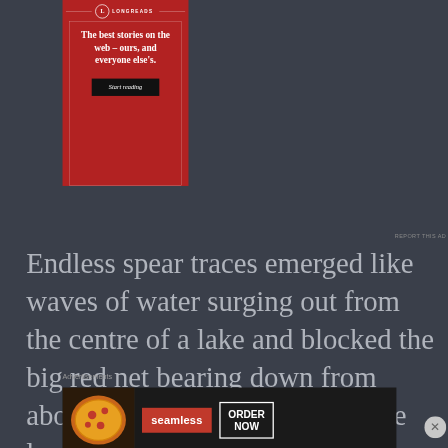[Figure (infographic): Longreads advertisement with red background. Logo with 'L' in circle and 'LONGREADS' text. Inner bordered box with headline: 'The best stories on the web – ours, and everyone else's.' and a black 'Start reading' button.]
REPORT THIS AD
Endless spear traces emerged like waves of water surging out from the centre of a lake and blocked the big red net bearing down from above. However, the moment the long
Advertisements
[Figure (infographic): Seamless food delivery advertisement with dark background. Left side shows pizza image. Center has red 'seamless' badge. Right has white bordered box with 'ORDER NOW' text.]